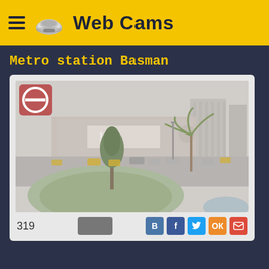Web Cams
Metro station Basman
[Figure (photo): Webcam screenshot of Metro station Basman showing a roundabout with green lawn, palm trees, a building with IEF signage, traffic on roads, and multi-story buildings in background. A red 'no' icon overlay is in the top-left corner of the image.]
319